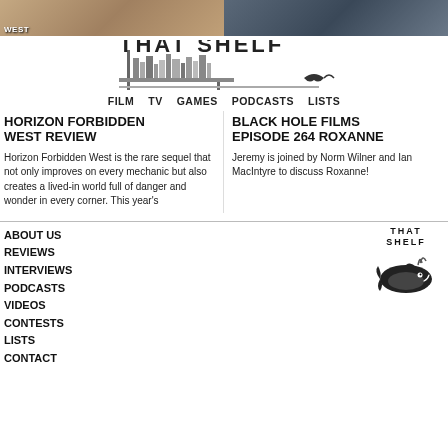[Figure (photo): Two side-by-side image thumbnails at top of page — left shows a woman with braided hair (Horizon Forbidden West), right shows a dark indoor scene (Black Hole Films podcast)]
[Figure (logo): That Shelf logo with stylized bookshelf lettering]
FILM  TV  GAMES  PODCASTS  LISTS
HORIZON FORBIDDEN WEST REVIEW
BLACK HOLE FILMS EPISODE 264 ROXANNE
Horizon Forbidden West is the rare sequel that not only improves on every mechanic but also creates a lived-in world full of danger and wonder in every corner. This year’s
Jeremy is joined by Norm Wilner and Ian MacIntyre to discuss Roxanne!
ABOUT US
REVIEWS
INTERVIEWS
PODCASTS
VIDEOS
CONTESTS
LISTS
CONTACT
[Figure (logo): That Shelf footer logo with whale illustration]